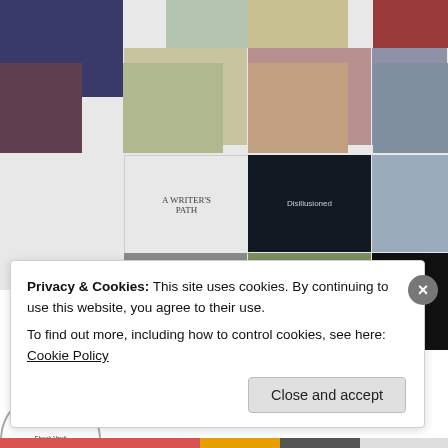[Figure (screenshot): A WordPress/blog follower grid showing many small profile photo thumbnails of various users, logos (Ebook Vault Free EBooks, A Writer's Path, Disillusioned), and placeholder avatars arranged in rows.]
Privacy & Cookies: This site uses cookies. By continuing to use this website, you agree to their use.
To find out more, including how to control cookies, see here: Cookie Policy
Close and accept